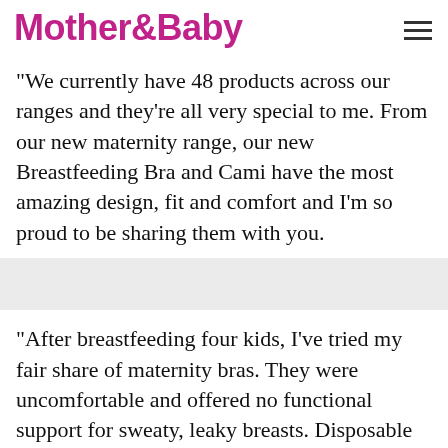Mother&Baby
"We currently have 48 products across our ranges and they’re all very special to me. From our new maternity range, our new Breastfeeding Bra and Cami have the most amazing design, fit and comfort and I’m so proud to be sharing them with you.
"After breastfeeding four kids, I’ve tried my fair share of maternity bras. They were uncomfortable and offered no functional support for sweaty, leaky breasts. Disposable breast pads were scratchy, stinky and never stayed in place.